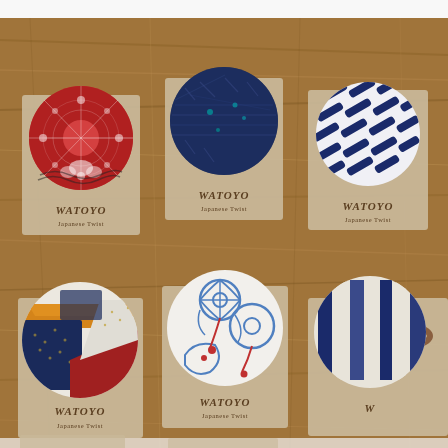[Figure (photo): Product photo showing Japanese fabric-covered button hair ties (ponytail holders) displayed on kraft paper cards branded 'WATOYO Japanese Twist', arranged on a wooden surface. Top row shows three buttons: red with white chrysanthemum pattern, dark navy blue with textured pattern, and white/navy with geometric stripe pattern. Bottom row shows three partially visible buttons: one with patchwork multicolor fabric (navy, gold, red), one with white fabric featuring blue/red floral motif, and one partially cropped on the right. Each card bears the handwritten-style logo 'WATOYO' and subtitle 'Japanese Twist' stamped in brown ink.]